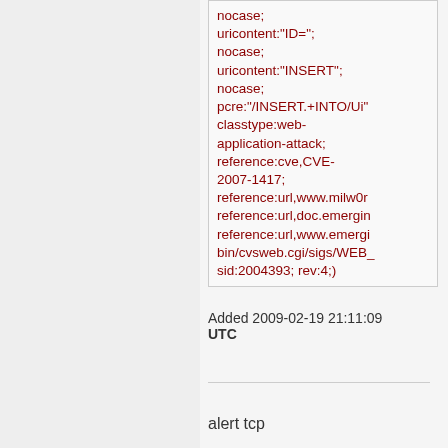nocase; uricontent:"ID="; nocase; uricontent:"INSERT"; nocase; pcre:"/INSERT.+INTO/Ui"; classtype:web-application-attack; reference:cve,CVE-2007-1417; reference:url,www.milw0r... reference:url,doc.emergin... reference:url,www.emergi... bin/cvsweb.cgi/sigs/WEB_... sid:2004393; rev:4;)
Added 2009-02-19 21:11:09 UTC
alert tcp